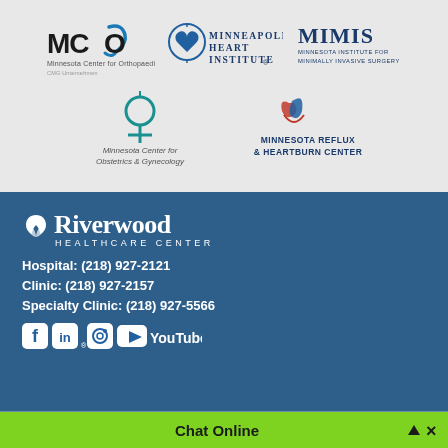[Figure (logo): MCO - Minnesota Center for Orthopaedics logo]
[Figure (logo): Minneapolis Heart Institute logo]
[Figure (logo): MIMIS - Minnesota Institute for Minimally Invasive Surgery logo]
[Figure (logo): Minnesota Center for Obstetrics & Gynecology logo]
[Figure (logo): Minnesota Reflux & Heartburn Center logo]
[Figure (logo): Riverwood Healthcare Center logo]
Hospital: (218) 927-2121
Clinic: (218) 927-2157
Specialty Clinic: (218) 927-5566
[Figure (other): Social media icons: Facebook, LinkedIn, Instagram, YouTube]
Chat Online